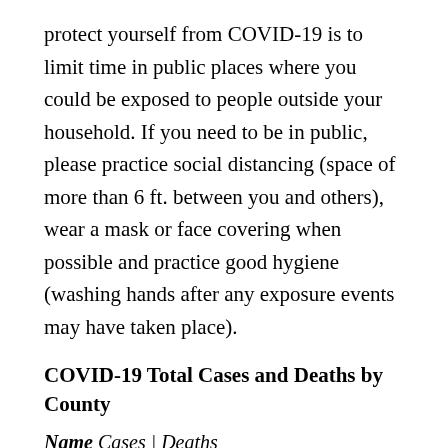protect yourself from COVID-19 is to limit time in public places where you could be exposed to people outside your household. If you need to be in public, please practice social distancing (space of more than 6 ft. between you and others), wear a mask or face covering when possible and practice good hygiene (washing hands after any exposure events may have taken place).
COVID-19 Total Cases and Deaths by County
| Name | Cases | Deaths |
| --- | --- | --- |
| Adams | 1595 | 10 |